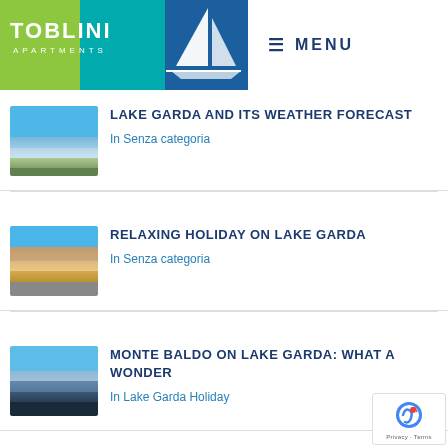TOBLINI APARTMENTS — MENU
LAKE GARDA AND ITS WEATHER FORECAST
In Senza categoria
RELAXING HOLIDAY ON LAKE GARDA
In Senza categoria
MONTE BALDO ON LAKE GARDA: WHAT A WONDER
In Lake Garda Holiday